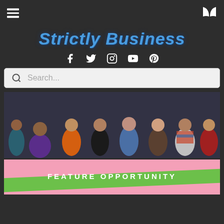Menu icon and book/magazine icon in header
Strictly Business
[Figure (infographic): Five social media icons: Facebook, Twitter, Instagram, YouTube, Pinterest — white on dark background]
[Figure (other): Search bar with magnifying glass icon and placeholder text 'Search...']
[Figure (photo): Group photo of approximately 8-10 people standing and crouching together indoors, various clothing colors including purple, orange, denim, red/striped scarf]
[Figure (infographic): Pink background banner with green diagonal ribbon that reads 'FEATURE OPPORTUNITY' in white uppercase bold letters]